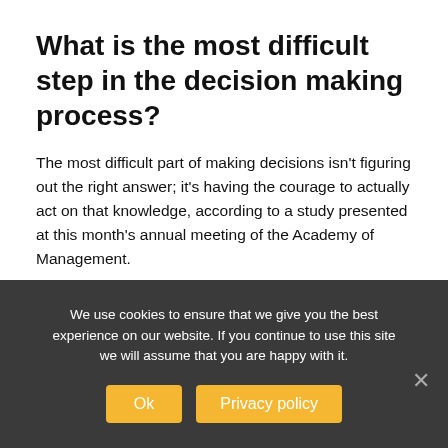What is the most difficult step in the decision making process?
The most difficult part of making decisions isn't figuring out the right answer; it's having the courage to actually act on that knowledge, according to a study presented at this month's annual meeting of the Academy of Management.
What are decision making statements?
Decision making structures require that the programmer specify one or more conditions to be
We use cookies to ensure that we give you the best experience on our website. If you continue to use this site we will assume that you are happy with it.